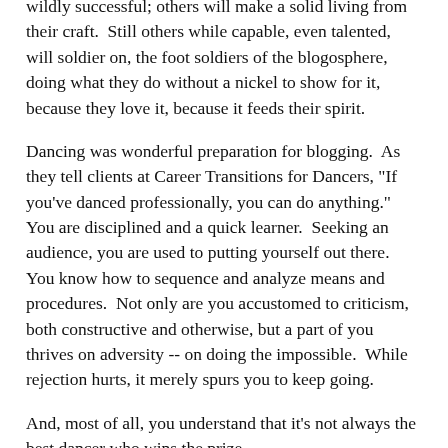wildly successful; others will make a solid living from their craft.  Still others while capable, even talented, will soldier on, the foot soldiers of the blogosphere, doing what they do without a nickel to show for it, because they love it, because it feeds their spirit.
Dancing was wonderful preparation for blogging.  As they tell clients at Career Transitions for Dancers, "If you've danced professionally, you can do anything."  You are disciplined and a quick learner.  Seeking an audience, you are used to putting yourself out there.  You know how to sequence and analyze means and procedures.  Not only are you accustomed to criticism, both constructive and otherwise, but a part of you thrives on adversity -- on doing the impossible.  While rejection hurts, it merely spurs you to keep going.
And, most of all, you understand that it's not always the best dancer who wins the prize.